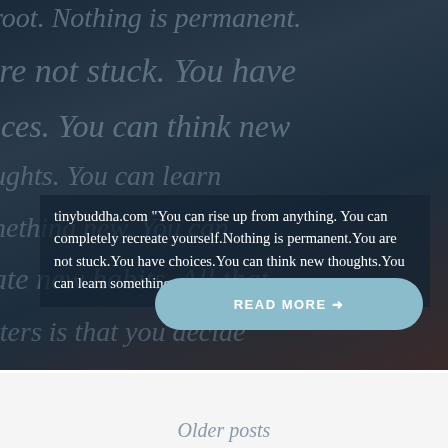[Figure (screenshot): Dark blue-toned background with partial italic text visible behind a centered quote block. Background text reads fragments of an inspirational quote. A white text block in the center reads: tinybuddha.com 'You can rise up from anything. You can completely recreate yourself.Nothing is permanent.You are not stuck.You have choices.You can think new thoughts.You can learn something new.You......'. A teal/light-blue rounded 'READ MORE →' button is centered below the text.]
tinybuddha.com "You can rise up from anything. You can completely recreate yourself.Nothing is permanent.You are not stuck.You have choices.You can think new thoughts.You can learn something new.You......
READ MORE →
Older posts